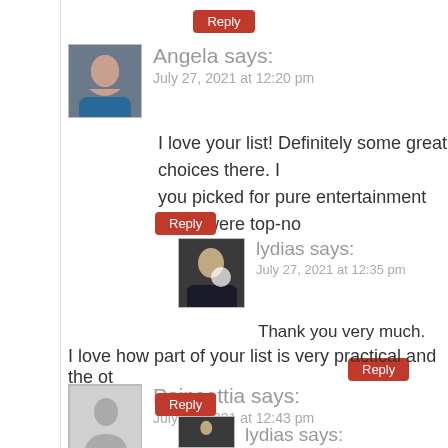Reply
Angela says:
July 27, 2021 at 12:20 pm
I love your list! Definitely some great choices there. I you picked for pure entertainment value were top-no
Reply
lydias says:
July 27, 2021 at 12:35 pm
Thank you very much.
Reply
Poinsettia says:
July 27, 2021 at 12:43 pm
I love how part of your list is very practical and the ot
Reply
lydias says: